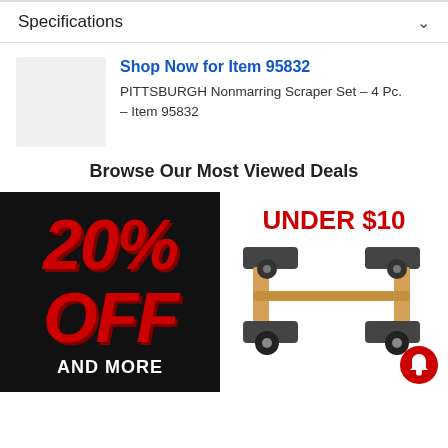Specifications
Shop Now for Item 95832
PITTSBURGH Nonmarring Scraper Set – 4 Pc. – Item 95832
Browse Our Most Viewed Deals
[Figure (infographic): Black box with red bold italic text reading '20% OFF AND MORE']
[Figure (infographic): White panel with red bold text 'UNDER $10' and a photo of a furniture/moving dolly with wheels, plus a red notification bell icon]